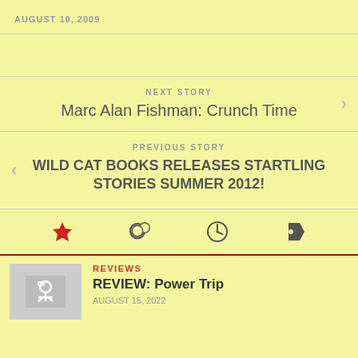AUGUST 10, 2009
NEXT STORY
Marc Alan Fishman: Crunch Time
PREVIOUS STORY
WILD CAT BOOKS RELEASES STARTLING STORIES SUMMER 2012!
[Figure (infographic): Icon bar with star, comment, clock, and tag icons]
REVIEWS
REVIEW: Power Trip
AUGUST 15, 2022